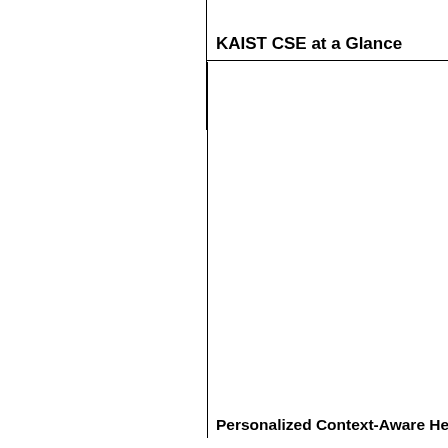KAIST CSE at a Glance
[Figure (other): Large white box/figure area with a left and top border, occupying most of the right half of the page]
Personalized Context-Aware Health Avatar i